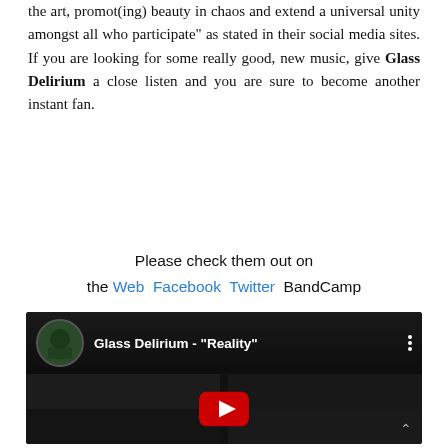the art, promot(ing) beauty in chaos and extend a universal unity amongst all who participate" as stated in their social media sites. If you are looking for some really good, new music, give Glass Delirium a close listen and you are sure to become another instant fan.
Please check them out on the Web Facebook Twitter BandCamp
[Figure (screenshot): YouTube embedded video player for Glass Delirium - 'Reality'. Dark thumbnail showing musicians, with YouTube play button in red/white and channel icon on the left.]